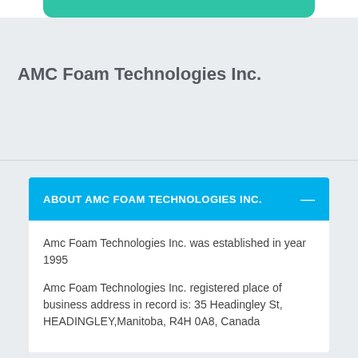AMC Foam Technologies Inc.
ABOUT AMC FOAM TECHNOLOGIES INC.
Amc Foam Technologies Inc. was established in year 1995
Amc Foam Technologies Inc. registered place of business address in record is: 35 Headingley St, HEADINGLEY,Manitoba, R4H 0A8, Canada